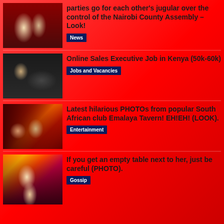parties go for each other's jugular over the control of the Nairobi County Assembly – Look!
News
Online Sales Executive Job in Kenya (50k-60k)
Jobs and Vacancies
Latest hilarious PHOTOs from popular South African club Emalaya Tavern! EH!EH! (LOOK).
Entertainment
If you get an empty table next to her, just be careful (PHOTO).
Gossip